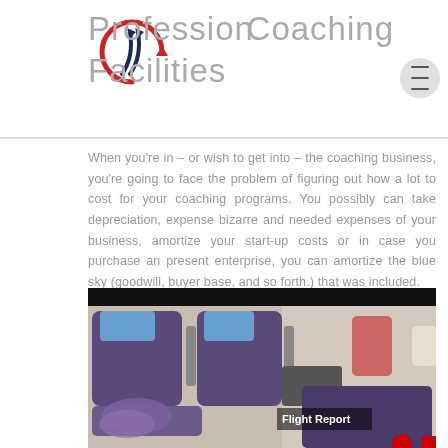Profession Coaching Facilities
When you're in – or wish to get into – the coaching business, you're going to face the problem of figuring out how a lot to cost for your coaching programs. You possibly can take depreciation, expense bizarre and needed expenses of your business, amortize your start-up costs or in case you purchase an present enterprise, you can amortize the blue sky (goodwill, buyer base, and so forth.) that was included.
[Figure (photo): Interior of airplane showing business/economy class seats with blue headrests in purple seats, with a 'Flight Report' badge overlay and Turkish Airlines logo at bottom right.]